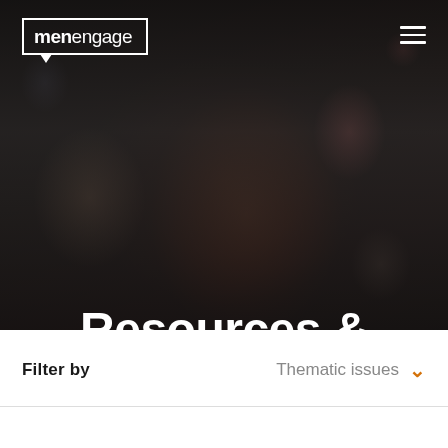[Figure (photo): Hero banner photo showing an elderly man at what appears to be a conference or event, with other people in the background. The image has a dark overlay. Contains the MenEngage logo in top-left and hamburger menu icon in top-right.]
Resources & Materials
Filter by
Thematic issues